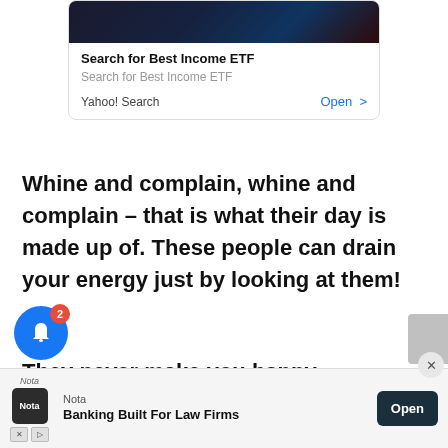[Figure (screenshot): Ad card with dark image at top, title 'Search for Best Income ETF', subtitle 'Search for Best Income ETF', source 'Yahoo! Search', and 'Open >' link]
Whine and complain, whine and complain – that is what their day is made up of. These people can drain your energy just by looking at them!
They never make you happy.
[Figure (screenshot): Bottom advertisement bar for Nota Banking Built For Law Firms with Open button, notification bell with badge 2, close button]